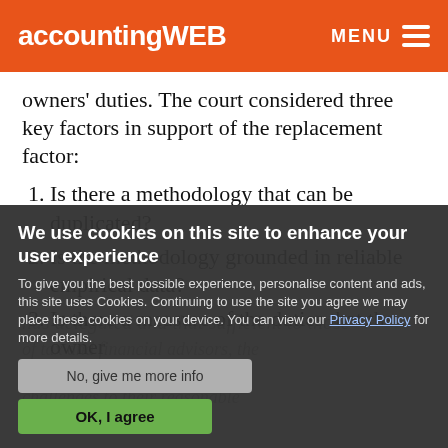accountingWEB  MENU
owners' duties. The court considered three key factors in support of the replacement factor:
1. Is there a methodology that can be duplicated?
2. Is the methodology grounded in reliable empirical data?
3. Is there a measure of the duties that the owner
We use cookies on this site to enhance your user experience
To give you the best possible experience, personalise content and ads, this site uses Cookies. Continuing to use the site you agree we may place these cookies on your device. You can view our Privacy Policy for more details.
No, give me more info
OK, I agree